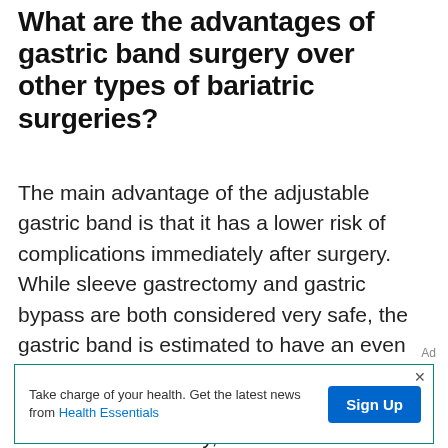What are the advantages of gastric band surgery over other types of bariatric surgeries?
The main advantage of the adjustable gastric band is that it has a lower risk of complications immediately after surgery. While sleeve gastrectomy and gastric bypass are both considered very safe, the gastric band is estimated to have an even lower risk of complications. There's no division of your stomach or intestines involved. Additionally, it
Ad
Take charge of your health. Get the latest news from Health Essentials  Sign Up